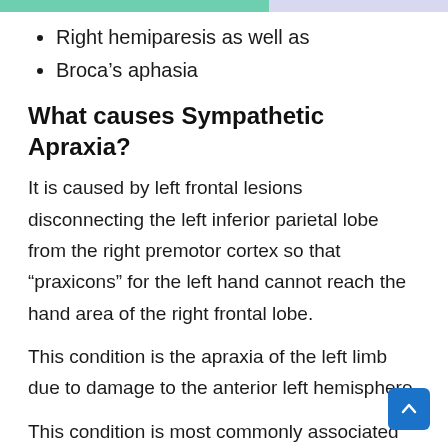Right hemiparesis as well as
Broca's aphasia
What causes Sympathetic Apraxia?
It is caused by left frontal lesions disconnecting the left inferior parietal lobe from the right premotor cortex so that “praxicons” for the left hand cannot reach the hand area of the right frontal lobe.
This condition is the apraxia of the left limb due to damage to the anterior left hemisphere.
This condition is most commonly associated with expressive aphasia